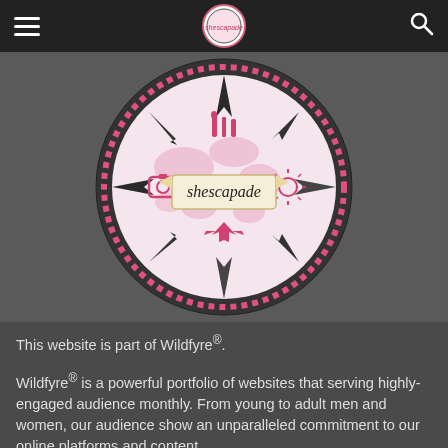Navigation bar with hamburger menu, shescapade logo, and search icon
[Figure (logo): Shescapade circular logo with compass arrows, world map in pink, icons for camera, wine/dining, travel/airplane, sun/beach, and a banner reading 'shescapade' in script font, surrounded by pink dotted circle border on dark grey background]
This website is part of Wildfyre®.
Wildfyre® is a powerful portfolio of websites that serving highly-engaged audience monthly. From young to adult men and women, our audience show an unparalleled commitment to our online platforms and content.